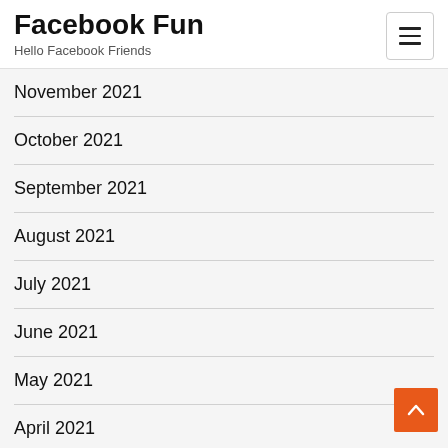Facebook Fun
Hello Facebook Friends
November 2021
October 2021
September 2021
August 2021
July 2021
June 2021
May 2021
April 2021
March 2021
February 2021